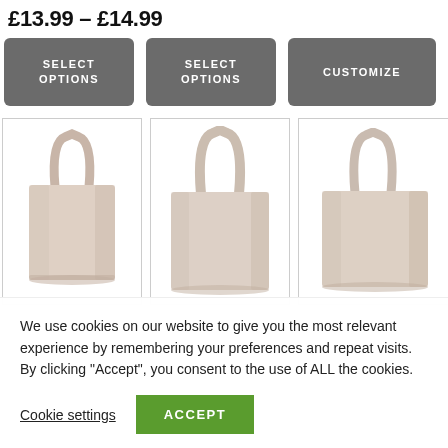£13.99 – £14.99
SELECT OPTIONS (button 1)
SELECT OPTIONS (button 2)
CUSTOMIZE (button)
[Figure (photo): Three canvas tote bags displayed side by side in bordered boxes. Each bag is a plain natural/beige cotton tote with short handles.]
We use cookies on our website to give you the most relevant experience by remembering your preferences and repeat visits. By clicking "Accept", you consent to the use of ALL the cookies.
Cookie settings
ACCEPT